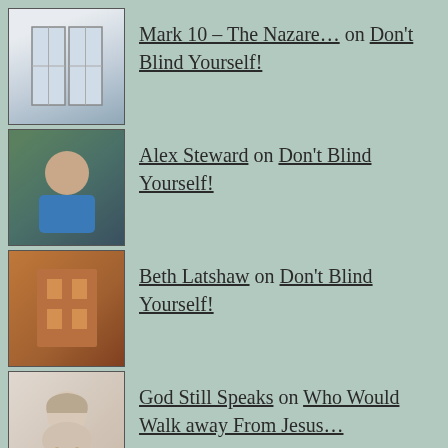Mark 10 – The Nazare… on Don't Blind Yourself!
Alex Steward on Don't Blind Yourself!
Beth Latshaw on Don't Blind Yourself!
God Still Speaks on Who Would Walk away From Jesus…
Karl Forehand on Review: The Tea Shop by Karl F…
Categories
Bible  Books  Call  current affairs  Devotion  Everyday Life  Faith  Love  running